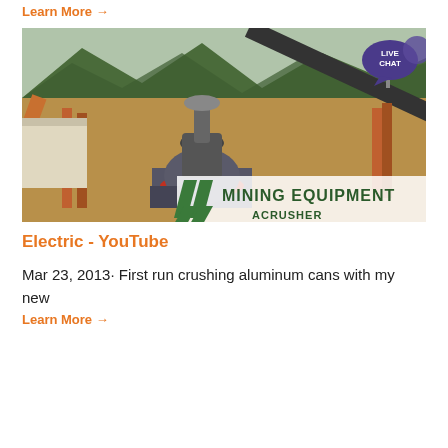Learn More →
[Figure (photo): Aerial view of mining/crushing equipment facility with conveyor belts, cone crusher, and mountains in background. Overlay watermark reads 'MINING EQUIPMENT ACRUSHER'. Live Chat bubble in top right corner.]
Electric - YouTube
Mar 23, 2013· First run crushing aluminum cans with my new
Learn More →